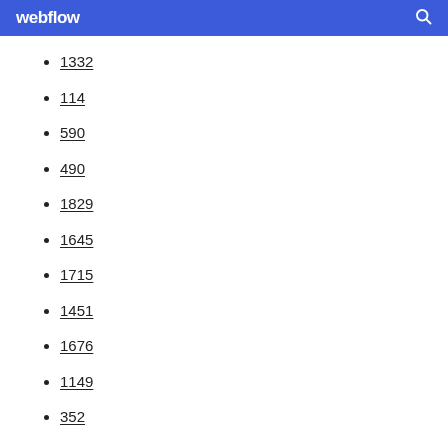webflow
1332
114
590
490
1829
1645
1715
1451
1676
1149
352
92
906